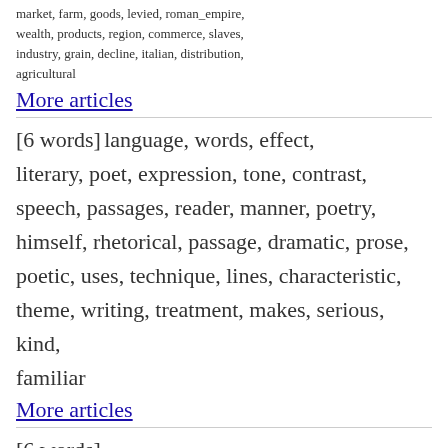market, farm, goods, levied, roman_empire, wealth, products, region, commerce, slaves, industry, grain, decline, italian, distribution, agricultural
More articles
[6 words] language, words, effect, literary, poet, expression, tone, contrast, speech, passages, reader, manner, poetry, himself, rhetorical, passage, dramatic, prose, poetic, uses, technique, lines, characteristic, theme, writing, treatment, makes, serious, kind, familiar
More articles
[6 words] goethe, pylos, german, eteokles, ennodius, mich, ilias, walther, nacht, kalasirier, dort, tradition, irons, skylas, elpenor, dorieas, frau, bruder, stein, syrio, tikemanu, triphylien, wilhelm, gorges, kroman, kyrene, sodien, ande, imei, lykus
More articles
[6 words] pour, mais, nous, comme, cette, avec, sont, meme, deux, fait, bien, etre, aussi, elle, entre, tout, dont, leur, sans, autre, peut, etait, donc, avait, voir, autres, apres, ainsi, encore, chez,